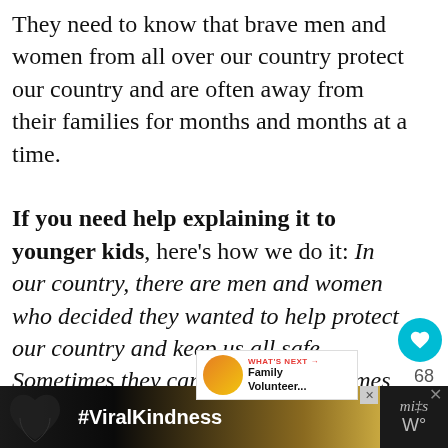They need to know that brave men and women from all over our country protect our country and are often away from their families for months and months at a time.
If you need help explaining it to younger kids, here's how we do it: In our country, there are men and women who decided they wanted to help protect our country and keep us all safe. Sometimes they carry a gun, sometimes they fly plains, or maybe they work on a really large ship. Some of these people work near their families home every night. But some of them have to
[Figure (screenshot): Advertisement banner with hands making a heart shape and #ViralKindness hashtag]